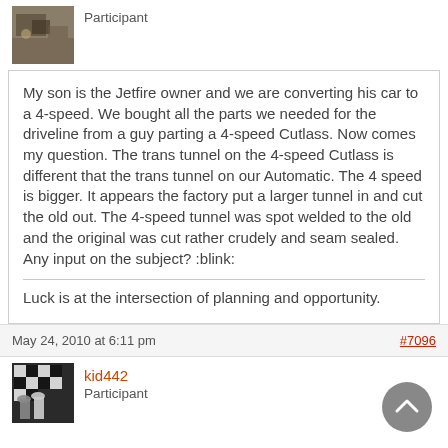[Figure (photo): Small avatar photo showing a scene with objects, dark tones]
Participant
My son is the Jetfire owner and we are converting his car to a 4-speed. We bought all the parts we needed for the driveline from a guy parting a 4-speed Cutlass. Now comes my question. The trans tunnel on the 4-speed Cutlass is different that the trans tunnel on our Automatic. The 4 speed is bigger. It appears the factory put a larger tunnel in and cut the old out. The 4-speed tunnel was spot welded to the old and the original was cut rather crudely and seam sealed. Any input on the subject? :blink:
Luck is at the intersection of planning and opportunity.
May 24, 2010 at 6:11 pm  #7096
[Figure (photo): Small avatar image for user kid442, black and white chess or graphic style]
kid442
Participant